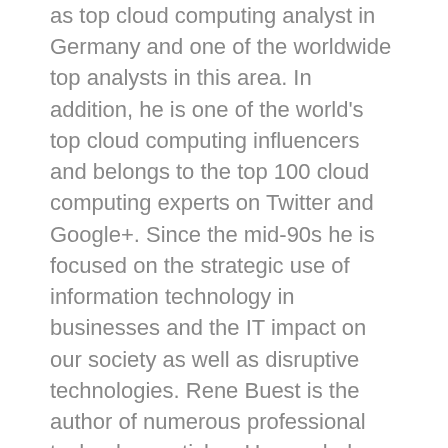as top cloud computing analyst in Germany and one of the worldwide top analysts in this area. In addition, he is one of the world's top cloud computing influencers and belongs to the top 100 cloud computing experts on Twitter and Google+. Since the mid-90s he is focused on the strategic use of information technology in businesses and the IT impact on our society as well as disruptive technologies. Rene Buest is the author of numerous professional technology articles. He regularly writes for well-known IT publications like Computerwoche, CIO Magazin, LANline as well as Silicon.de and is cited in German and international media – including New York Times, Forbes Magazin, Handelsblatt, Frankfurter Allgemeine Zeitung, Wirtschaftswoche, Computerwoche, CIO, Manager Magazin and Harvard Business Manager. Furthermore Rene Buest is speaker and participant of experts rounds. He is founder of CloudUser.de and writes about cloud computing, IT infrastructure, technologies, management and strategies. He holds a